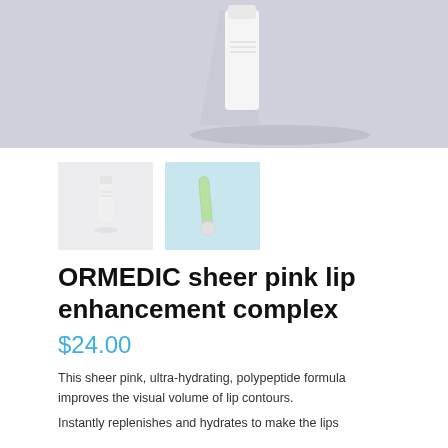[Figure (photo): Main product photo showing a white cylindrical bottle/tube on a light grey-blue background with shadow]
[Figure (photo): Thumbnail 1: small white bottle on light grey background]
[Figure (photo): Thumbnail 2: green/clear tube with cap on light blue background]
ORMEDIC sheer pink lip enhancement complex
$24.00
This sheer pink, ultra-hydrating, polypeptide formula improves the visual volume of lip contours.
Instantly replenishes and hydrates to make the lips